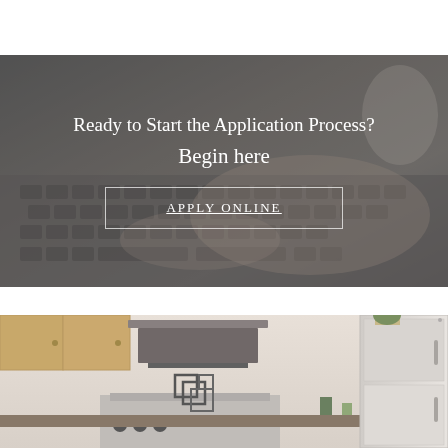[Figure (photo): Person typing on a laptop keyboard with a coffee mug, overlaid with dark semi-transparent layer. Text overlay reads 'Ready to Start the Application Process? Begin here' with an APPLY ONLINE button.]
[Figure (photo): Kitchen interior with light wood cabinets, stainless steel stove with range hood, and white refrigerator on the right.]